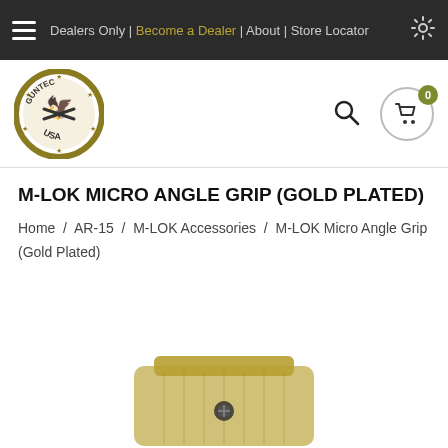Dealers Only | Become a Dealer | About | Store Locator
[Figure (logo): Guntec USA circular logo with eagle and crossed rifles, gold and black]
M-LOK MICRO ANGLE GRIP (GOLD PLATED)
Home / AR-15 / M-LOK Accessories / M-LOK Micro Angle Grip (Gold Plated)
[Figure (photo): Partial product image of gold plated M-LOK micro angle grip at the bottom of the page]